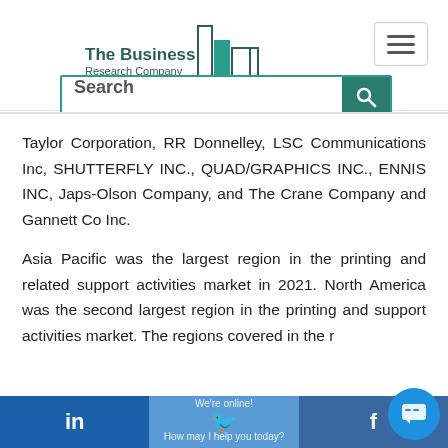[Figure (logo): The Business Research Company logo with building silhouette in teal/dark]
Taylor Corporation, RR Donnelley, LSC Communications Inc, SHUTTERFLY INC., QUAD/GRAPHICS INC., ENNIS INC, Japs-Olson Company, and The Crane Company and Gannett Co Inc.
Asia Pacific was the largest region in the printing and related support activities market in 2021. North America was the second largest region in the printing and support activities market. The regions covered in the r...